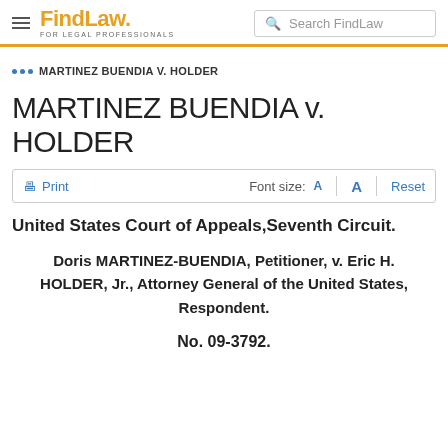FindLaw FOR LEGAL PROFESSIONALS | Search FindLaw
... MARTINEZ BUENDIA V. HOLDER
MARTINEZ BUENDIA v. HOLDER
Print | Font size: A A Reset
United States Court of Appeals,Seventh Circuit.
Doris MARTINEZ-BUENDIA, Petitioner, v. Eric H. HOLDER, Jr., Attorney General of the United States, Respondent.
No. 09-3792.